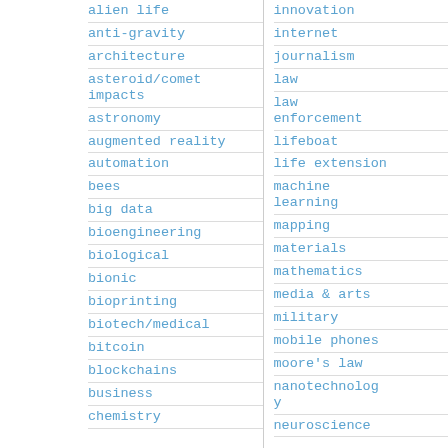alien life
anti-gravity
architecture
asteroid/comet impacts
astronomy
augmented reality
automation
bees
big data
bioengineering
biological
bionic
bioprinting
biotech/medical
bitcoin
blockchains
business
chemistry
innovation
internet
journalism
law
law enforcement
lifeboat
life extension
machine learning
mapping
materials
mathematics
media & arts
military
mobile phones
moore's law
nanotechnology
neuroscience